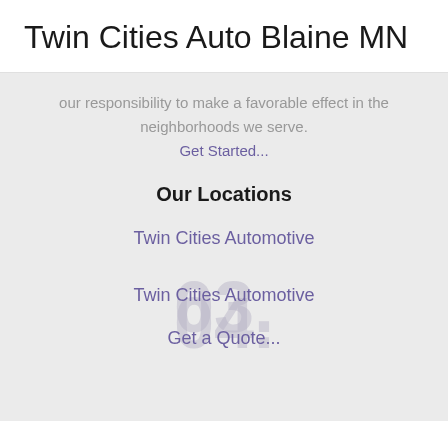Twin Cities Auto Blaine MN
our responsibility to make a favorable effect in the neighborhoods we serve.
Get Started...
Our Locations
Twin Cities Automotive
Twin Cities Automotive
Get a Quote...